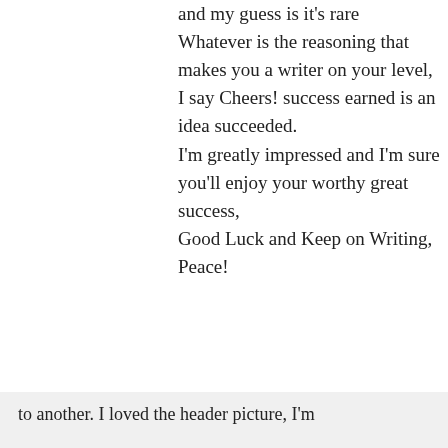and my guess is it's rare Whatever is the reasoning that makes you a writer on your level, I say Cheers! success earned is an idea succeeded. I'm greatly impressed and I'm sure you'll enjoy your worthy great success, Good Luck and Keep on Writing, Peace!
★ Like
↪ Reply
Privacy & Cookies: This site uses cookies. By continuing to use this website, you agree to their use. To find out more, including how to control cookies, see here: Cookie Policy
Close and accept
to another. I loved the header picture, I'm